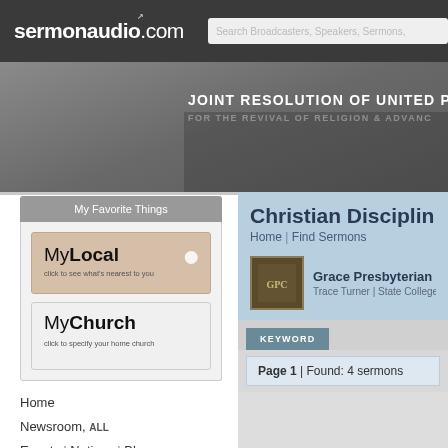sermonaudio.com — Search Broadcasters, Speakers, Sermons,
[Figure (screenshot): Banner showing JOINT RESOLUTION OF UNITED PR... FOR THE REVIVAL OF RELIGION & ADVANC...]
My Favorite Things
[Figure (logo): MyLocal logo with pin icon and text: click to see what's nearest to you]
[Figure (logo): MyChurch logo with text: click to specify your home church]
Home
Newsroom, ALL
Events | Notices | Blogs
Newest Audio | Video | Clips
Christian Disciplin...
Home | Find Sermons
Grace Presbyterian Chur... Trace Turner | State College, Pen...
KEYWORD
Page 1 | Found: 4 sermons